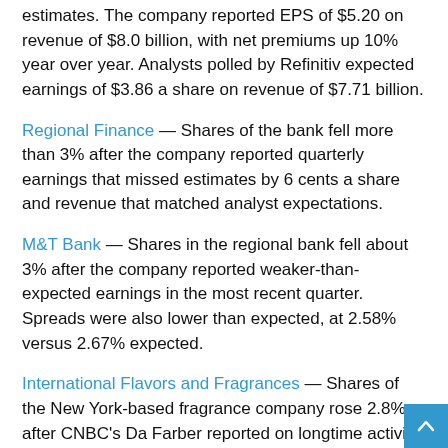estimates. The company reported EPS of $5.20 on revenue of $8.0 billion, with net premiums up 10% year over year. Analysts polled by Refinitiv expected earnings of $3.86 a share on revenue of $7.71 billion.
Regional Finance — Shares of the bank fell more than 3% after the company reported quarterly earnings that missed estimates by 6 cents a share and revenue that matched analyst expectations.
M&T Bank — Shares in the regional bank fell about 3% after the company reported weaker-than-expected earnings in the most recent quarter. Spreads were also lower than expected, at 2.58% versus 2.67% expected.
International Flavors and Fragrances — Shares of the New York-based fragrance company rose 2.8% after CNBC's Da Farber reported on longtime activist investor Carl Icahn 4%